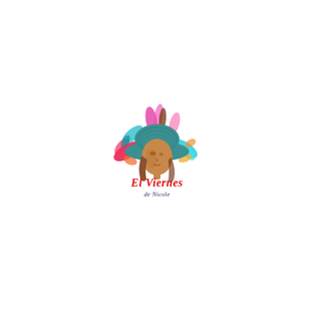[Figure (logo): El Viernes de Nicole logo: a teal illustrated woman's face wearing a wide-brimmed hat, surrounded by a colorful paint powder splash (pink, red, cyan, orange, magenta, brown), with cursive red text 'El Viernes' below and smaller dark text 'de Nicole' beneath that.]